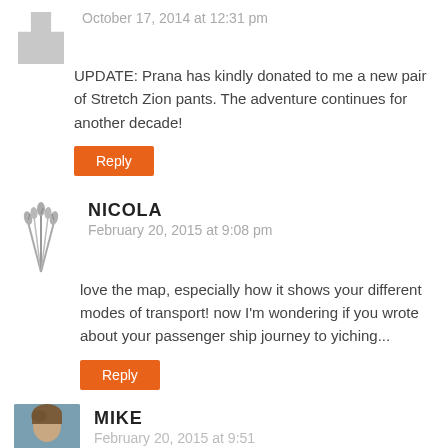October 17, 2014 at 12:31 pm
UPDATE: Prana has kindly donated to me a new pair of Stretch Zion pants. The adventure continues for another decade!
Reply
NICOLA
February 20, 2015 at 9:08 pm
love the map, especially how it shows your different modes of transport! now I'm wondering if you wrote about your passenger ship journey to yiching...
Reply
MIKE
February 20, 2015 at 9:51